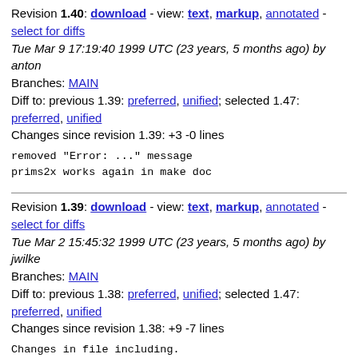Revision 1.40: download - view: text, markup, annotated - select for diffs
Tue Mar 9 17:19:40 1999 UTC (23 years, 5 months ago) by anton
Branches: MAIN
Diff to: previous 1.39: preferred, unified; selected 1.47: preferred, unified
Changes since revision 1.39: +3 -0 lines
removed "Error: ..." message
prims2x works again in make doc
Revision 1.39: download - view: text, markup, annotated - select for diffs
Tue Mar 2 15:45:32 1999 UTC (23 years, 5 months ago) by jwilke
Branches: MAIN
Diff to: previous 1.38: preferred, unified; selected 1.47: preferred, unified
Changes since revision 1.38: +9 -7 lines
Changes in file including.
Revision 1.38: download - view: text, markup, annotated - select for diffs
Fri Dec 25 22:50:49 1998 UTC (23 years, 7 months ago) by pazsan
Branches: MAIN